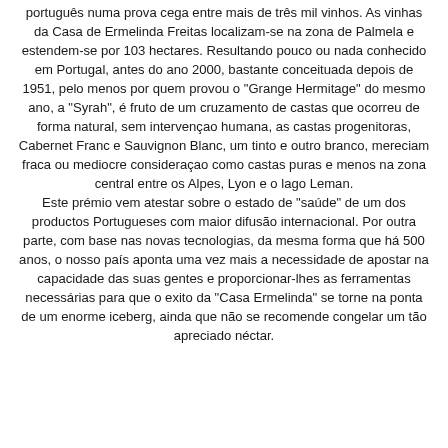português numa prova cega entre mais de três mil vinhos. As vinhas da Casa de Ermelinda Freitas localizam-se na zona de Palmela e estendem-se por 103 hectares. Resultando pouco ou nada conhecido em Portugal, antes do ano 2000, bastante conceituada depois de 1951, pelo menos por quem provou o "Grange Hermitage" do mesmo ano, a "Syrah", é fruto de um cruzamento de castas que ocorreu de forma natural, sem intervençao humana, as castas progenitoras, Cabernet Franc e Sauvignon Blanc, um tinto e outro branco, mereciam fraca ou mediocre consideraçao como castas puras e menos na zona central entre os Alpes, Lyon e o lago Leman. Este prémio vem atestar sobre o estado de "saúde" de um dos productos Portugueses com maior difusão internacional. Por outra parte, com base nas novas tecnologias, da mesma forma que há 500 anos, o nosso país aponta uma vez mais a necessidade de apostar na capacidade das suas gentes e proporcionar-lhes as ferramentas necessárias para que o exito da "Casa Ermelinda" se torne na ponta de um enorme iceberg, ainda que não se recomende congelar um tão apreciado néctar.